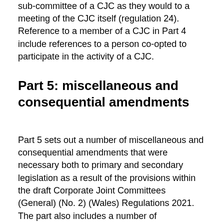sub-committee of a CJC as they would to a meeting of the CJC itself (regulation 24). Reference to a member of a CJC in Part 4 include references to a person co-opted to participate in the activity of a CJC.
Part 5: miscellaneous and consequential amendments
Part 5 sets out a number of miscellaneous and consequential amendments that were necessary both to primary and secondary legislation as a result of the provisions within the draft Corporate Joint Committees (General) (No. 2) (Wales) Regulations 2021.
The part also includes a number of amendments to the Establishment Regulations in light of the